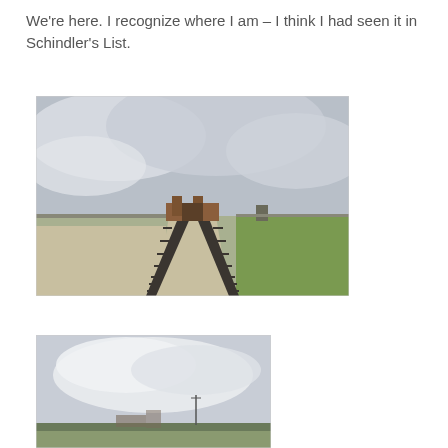We're here.  I recognize where I am – I think I had seen it in Schindler's List.
[Figure (photo): Photograph of railway tracks leading toward a large brick gatehouse building at Auschwitz-Birkenau concentration camp, with green grass on the right, gravel ground, overcast cloudy sky.]
[Figure (photo): Partial photograph showing the lower portion of the Auschwitz-Birkenau site under an overcast sky, with flat landscape and distant structures visible.]